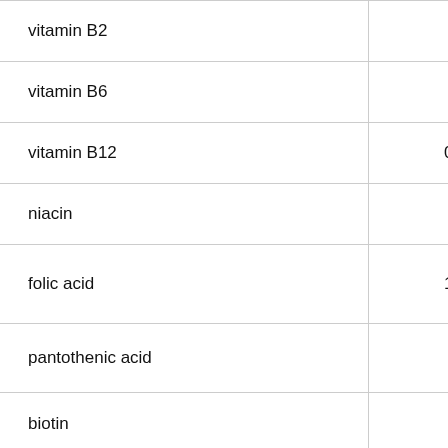| vitamin B2 | 158 |
| vitamin B6 | 54 |
| vitamin B12 | 0.20 |
| niacin | 595 |
| folic acid | 17.6 |
| pantothenic acid | 462 |
| biotin | 1.8 |